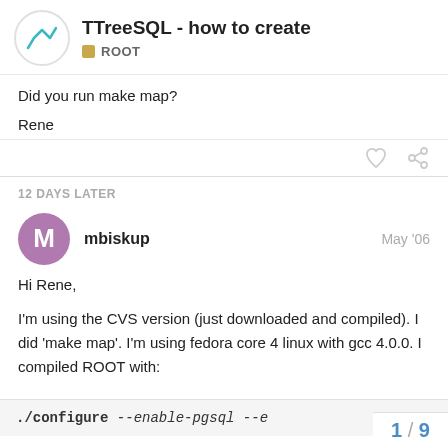TTreeSQL - how to create | ROOT
Did you run make map?
Rene
12 DAYS LATER
mbiskup  May '06
Hi Rene,
I'm using the CVS version (just downloaded and compiled). I did 'make map'. I'm using fedora core 4 linux with gcc 4.0.0. I compiled ROOT with:
./configure --enable-pgsql --e...
1 / 9